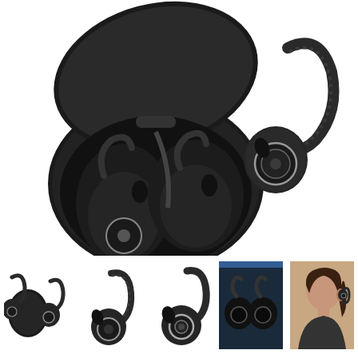[Figure (photo): Product photo of black true wireless earbuds with over-ear hook design, shown with open charging case. The charging case is open revealing both earbuds nestled inside. One earbud is shown separately to the right displaying the ear hook and earbud button detail. Background is white.]
[Figure (photo): Small thumbnail showing the earbuds and charging case from another angle, black on white background.]
[Figure (photo): Small thumbnail showing a single earbud with ear hook, black on white background.]
[Figure (photo): Small thumbnail showing a single earbud close-up, black on white background.]
[Figure (photo): Small thumbnail showing the earbuds in a dark/studio setting, possibly connected to a phone or device.]
[Figure (photo): Small thumbnail showing a woman wearing the earbuds, side profile view.]